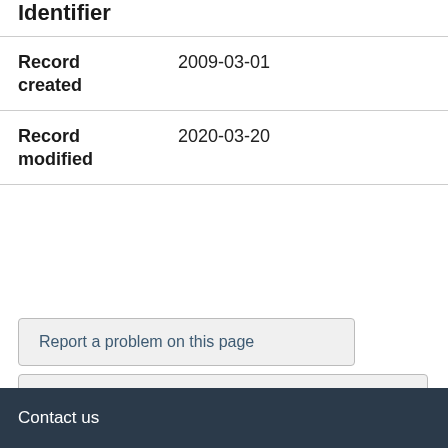Identifier
| Field | Value |
| --- | --- |
| Record created | 2009-03-01 |
| Record modified | 2020-03-20 |
Report a problem on this page
Share this page
Date modified: 2022-08-25
Contact us